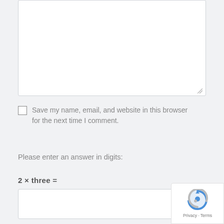[textarea box - comment input]
Save my name, email, and website in this browser for the next time I comment.
Please enter an answer in digits:
2 × three =
[input field]
Post Comment
[Figure (logo): reCAPTCHA badge with Privacy and Terms links]